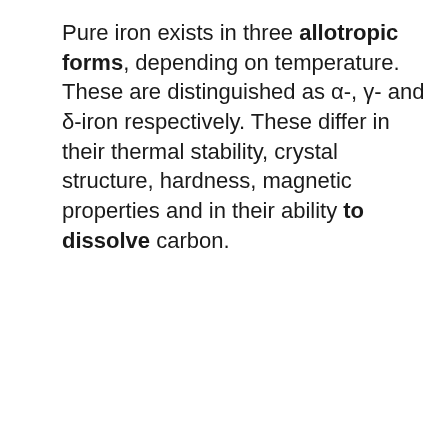Pure iron exists in three allotropic forms, depending on temperature. These are distinguished as α-, γ- and δ-iron respectively. These differ in their thermal stability, crystal structure, hardness, magnetic properties and in their ability to dissolve carbon.